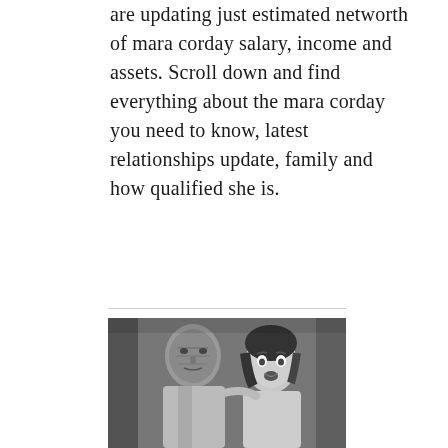are updating just estimated networth of mara corday salary, income and assets. Scroll down and find everything about the mara corday you need to know, latest relationships update, family and how qualified she is.
[Figure (photo): Black and white photograph of two people — an older man with a heavily wrinkled or textured face on the left, and a young woman with dark hair on the right who appears to be reacting with surprise or amusement.]